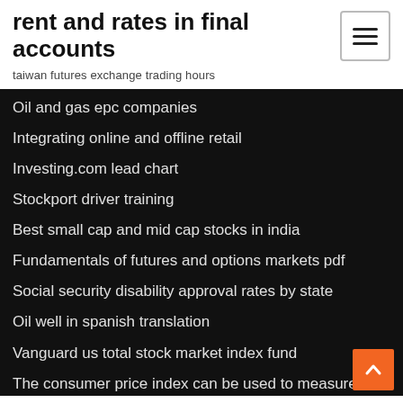rent and rates in final accounts
taiwan futures exchange trading hours
Oil and gas epc companies
Integrating online and offline retail
Investing.com lead chart
Stockport driver training
Best small cap and mid cap stocks in india
Fundamentals of futures and options markets pdf
Social security disability approval rates by state
Oil well in spanish translation
Vanguard us total stock market index fund
The consumer price index can be used to measure